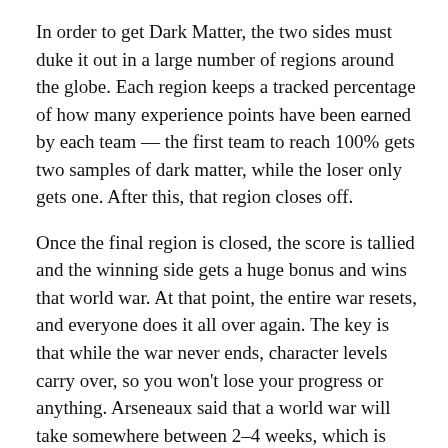In order to get Dark Matter, the two sides must duke it out in a large number of regions around the globe. Each region keeps a tracked percentage of how many experience points have been earned by each team — the first team to reach 100% gets two samples of dark matter, while the loser only gets one. After this, that region closes off.
Once the final region is closed, the score is tallied and the winning side gets a huge bonus and wins that world war. At that point, the entire war resets, and everyone does it all over again. The key is that while the war never ends, character levels carry over, so you won't lose your progress or anything. Arseneaux said that a world war will take somewhere between 2–4 weeks, which is fairly short for a World War but seems like a good amount of time for a multiplayer video game.
But that's all macro-level stuff. Down in its guts Hybrid is a third-person cover-shooter that puts a much larger focus on